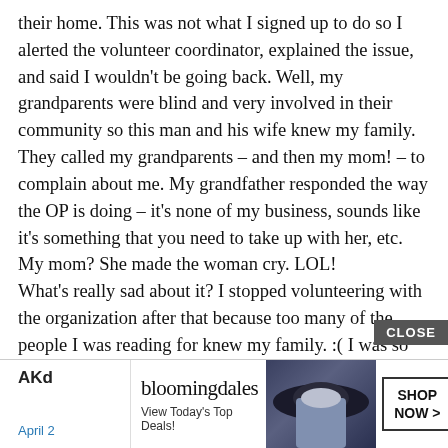their home. This was not what I signed up to do so I alerted the volunteer coordinator, explained the issue, and said I wouldn't be going back. Well, my grandparents were blind and very involved in their community so this man and his wife knew my family. They called my grandparents – and then my mom! – to complain about me. My grandfather responded the way the OP is doing – it's none of my business, sounds like it's something that you need to take up with her, etc. My mom? She made the woman cry. LOL! What's really sad about it? I stopped volunteering with the organization after that because too many of the people I was reading for knew my family. :( I was so scared that it would happen again.
[Figure (screenshot): Advertisement banner: Bloomingdale's 'View Today's Top Deals!' with a woman in a wide-brim hat, 'SHOP NOW >' button, and Bruce Campbell badge. A 'CLOSE' button appears above. Partially obscured username 'AKc' and 'April 2' text visible.]